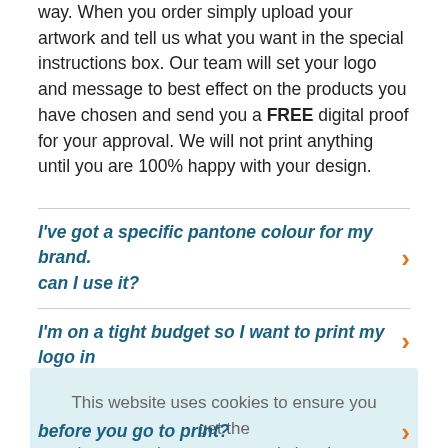way. When you order simply upload your artwork and tell us what you want in the special instructions box. Our team will set your logo and message to best effect on the products you have chosen and send you a FREE digital proof for your approval. We will not print anything until you are 100% happy with your design.
I've got a specific pantone colour for my brand. can I use it?
I'm on a tight budget so I want to print my logo in one colour. will you convert my multi coloured
This website uses cookies to ensure you get the best experience on our website. Learn more
Got it!
before you go to print?